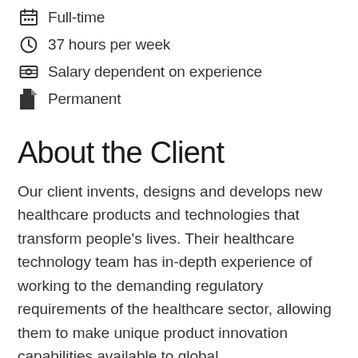Full-time
37 hours per week
Salary dependent on experience
Permanent
About the Client
Our client invents, designs and develops new healthcare products and technologies that transform people’s lives. Their healthcare technology team has in-depth experience of working to the demanding regulatory requirements of the healthcare sector, allowing them to make unique product innovation capabilities available to global